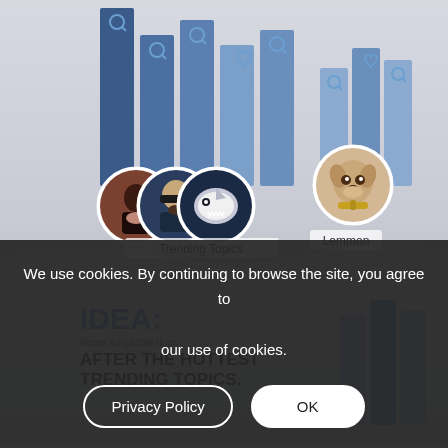[Figure (infographic): Top portion of an infographic showing bar charts with social media style icons (search/magnify and heart icons) at the tops of bars, and circular profile photos below the bars including three trending topic figures and a dog labeled Lemmon. Labels read 'Trending Topics' and 'Lemmon'.]
IDEA:
Name adoptable dogs
AFTER THE HOTTEST TRENDING TOPICS.
[Figure (infographic): Partial infographic bottom section showing more bar charts on the right side with social media icons, partially obscured by a cookie consent overlay.]
We use cookies. By continuing to browse the site, you agree to our use of cookies.
Privacy Policy
OK